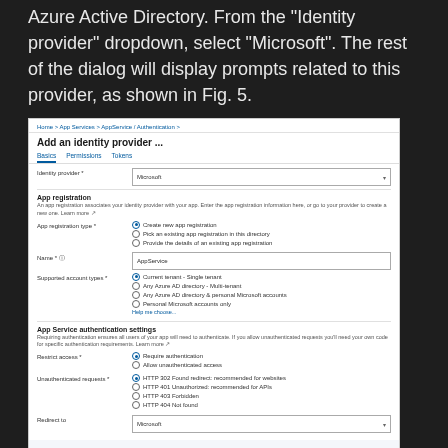Azure Active Directory. From the "Identity provider" dropdown, select "Microsoft". The rest of the dialog will display prompts related to this provider, as shown in Fig. 5.
[Figure (screenshot): Azure portal screenshot showing 'Add an identity provider' dialog with Microsoft selected as the identity provider, app registration settings, and authentication settings configured.]
Fig. 5
At the "App registration type" prompt, select the "Create new app registration" radio button.
At the "Name" prompt, enter a unique name for the app registration. This will default to the name of your web app